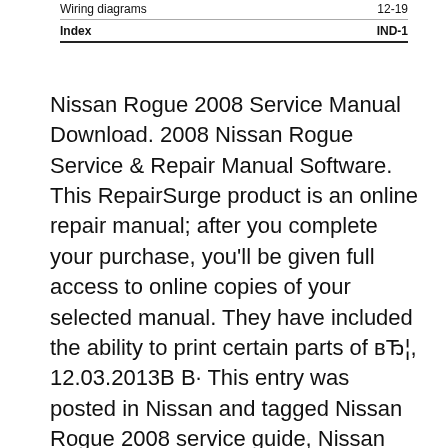|  |  |
| --- | --- |
| Wiring diagrams | 12-19 |
| Index | IND-1 |
Nissan Rogue 2008 Service Manual Download. 2008 Nissan Rogue Service & Repair Manual Software. This RepairSurge product is an online repair manual; after you complete your purchase, you'll be given full access to online copies of your selected manual. They have included the ability to print certain parts of вЂ¦, 12.03.2013В В· This entry was posted in Nissan and tagged Nissan Rogue 2008 service guide, Nissan Rogue 2008 service maintenance manual, Nissan Rogue 2008 service manual pdf download,